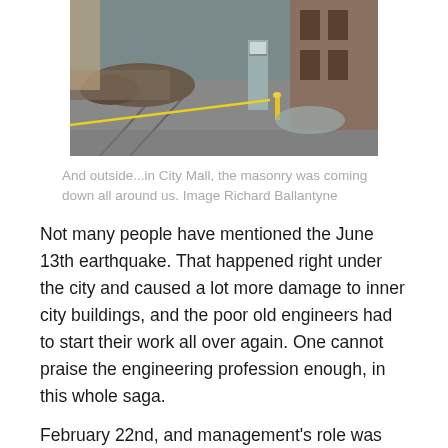[Figure (photo): Street scene showing earthquake damage in City Mall, with rubble and masonry fallen on the street, yellow caution tape visible, a phone booth standing amid the debris, and damaged storefronts.]
And outside...in City Mall, the masonry was coming down all around us. Image Richard Ballantyne
Not many people have mentioned the June 13th earthquake. That happened right under the city and caused a lot more damage to inner city buildings, and the poor old engineers had to start their work all over again. One cannot praise the engineering profession enough, in this whole saga.
February 22nd, and management's role was really firstly to